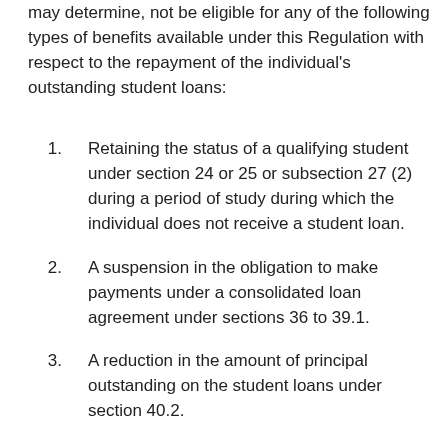may determine, not be eligible for any of the following types of benefits available under this Regulation with respect to the repayment of the individual's outstanding student loans:
Retaining the status of a qualifying student under section 24 or 25 or subsection 27 (2) during a period of study during which the individual does not receive a student loan.
A suspension in the obligation to make payments under a consolidated loan agreement under sections 36 to 39.1.
A reduction in the amount of principal outstanding on the student loans under section 40.2.